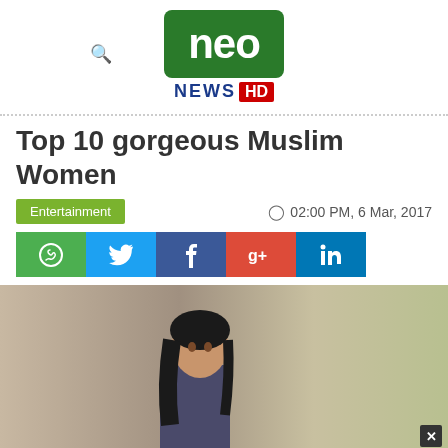[Figure (logo): Neo News HD logo — green rounded rectangle with white 'neo' text, below it 'NEWS' in dark blue and 'HD' in white on red background]
Top 10 gorgeous Muslim Women
Entertainment   02:00 PM, 6 Mar, 2017
[Figure (infographic): Social sharing buttons row: WhatsApp (green), Twitter (light blue), Facebook (dark blue), Google+ (red), LinkedIn (blue)]
[Figure (photo): Photo of two Muslim women — one with long dark hair in casual outfit, one wearing a white hijab with beaded headband and dramatic eye makeup]